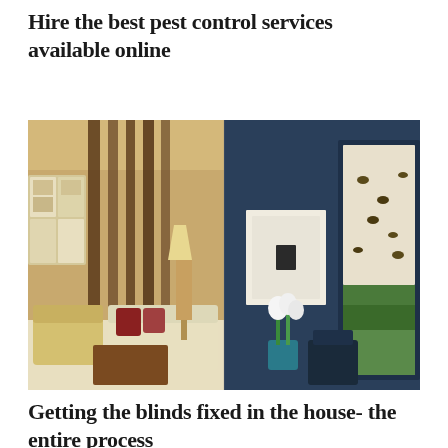Hire the best pest control services available online
[Figure (photo): Interior room photo split into two scenes: left side shows a warm living room with brown curtains, stained glass windows, and beige furniture; right side shows a navy blue wall with framed art, Roman shade with bee pattern, and white tulips in a vase]
Getting the blinds fixed in the house- the entire process
[Figure (photo): Exterior photo of a house with blue sky and trees in background, showing roof and upper portion of house]